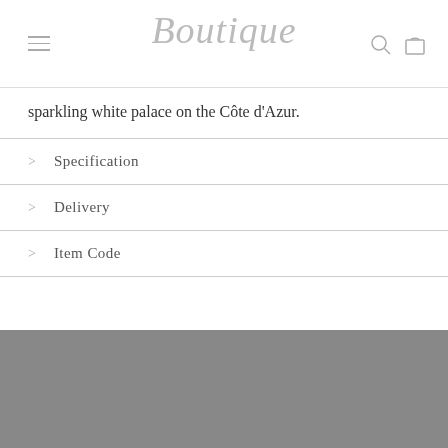Boutique
sparkling white palace on the Côte d'Azur.
Specification
Delivery
Item Code